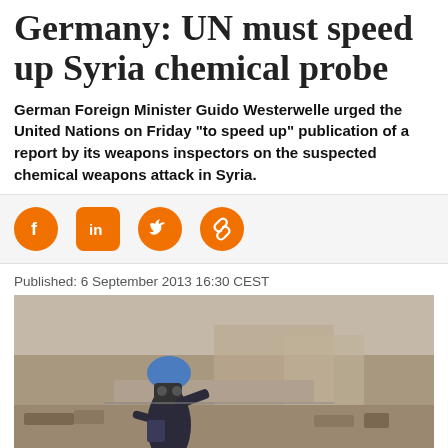Germany: UN must speed up Syria chemical probe
German Foreign Minister Guido Westerwelle urged the United Nations on Friday "to speed up" publication of a report by its weapons inspectors on the suspected chemical weapons attack in Syria.
[Figure (infographic): Social sharing icons: Facebook, LinkedIn, Twitter, link/chain icon — all in orange on light grey background]
Published: 6 September 2013 16:30 CEST
[Figure (photo): A person in a blue UN helmet and protective gear/gas mask crouching among rubble and debris at what appears to be a bomb-damaged site in Syria, holding equipment.]